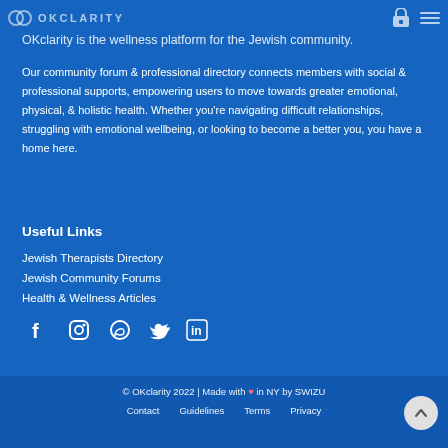OKCLARITY
OKclarity is the wellness platform for the Jewish community.
Our community forum & professional directory connects members with social & professional supports, empowering users to move towards greater emotional, physical, & holistic health. Whether you're navigating difficult relationships, struggling with emotional wellbeing, or looking to become a better you, you have a home here.
Useful Links
Jewish Therapists Directory
Jewish Community Forums
Health & Wellness Articles
[Figure (other): Social media icons: Facebook, Instagram, WhatsApp, Twitter, LinkedIn]
© OKclarity 2022 | Made with ♥ in NY by SWIZU
Contact   Guidelines   Terms   Privacy